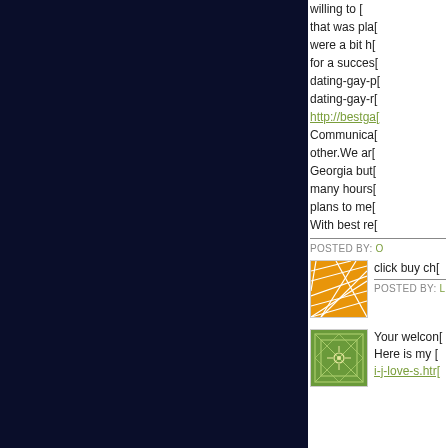willing to [cut off] that was pla[cut off] were a bit h[cut off] for a succes[cut off] dating-gay-p[cut off] dating-gay-r[cut off] http://bestga[cut off] Communica[cut off] other.We ar[cut off] Georgia but[cut off] many hours[cut off] plans to me[cut off] With best re[cut off]
POSTED BY: O[cut off]
[Figure (illustration): Orange square avatar with geometric line pattern]
click buy ch[cut off]
POSTED BY: L[cut off]
[Figure (illustration): Green square avatar with geometric line pattern and star center]
Your welcon[cut off] Here is my [cut off] i-j-love-s.htr[cut off]